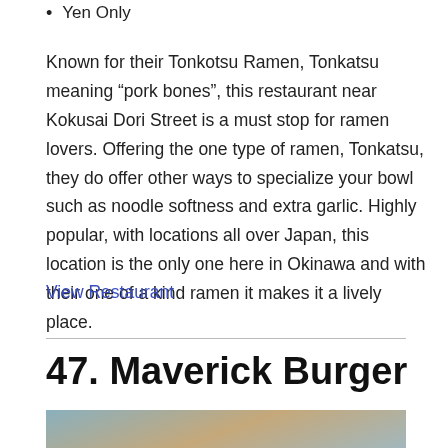Yen Only
Known for their Tonkotsu Ramen, Tonkatsu meaning “pork bones”, this restaurant near Kokusai Dori Street is a must stop for ramen lovers. Offering the one type of ramen, Tonkatsu, they do offer other ways to specialize your bowl such as noodle softness and extra garlic. Highly popular, with locations all over Japan, this location is the only one here in Okinawa and with their one of a kind ramen it makes it a lively place.
View Restaurant
47. Maverick Burger
[Figure (photo): Photo of food at Maverick Burger, partially visible at the bottom of the page]